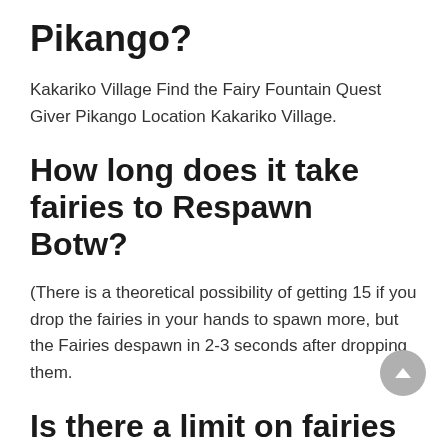Pikango?
Kakariko Village Find the Fairy Fountain Quest Giver Pikango Location Kakariko Village.
How long does it take fairies to Respawn Botw?
(There is a theoretical possibility of getting 15 if you drop the fairies in your hands to spawn more, but the Fairies despawn in 2-3 seconds after dropping them.
Is there a limit on fairies Botw?
In Breath of the Wild, it's no different — and you're capped to having a maximum of three fairies with you at